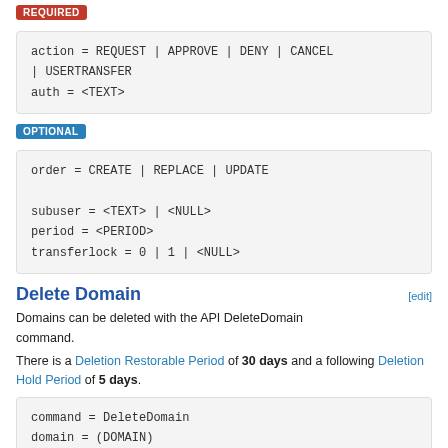REQUIRED
OPTIONAL
Delete Domain
Domains can be deleted with the API DeleteDomain command.
There is a Deletion Restorable Period of 30 days and a following Deletion Hold Period of 5 days.
Restore Domain